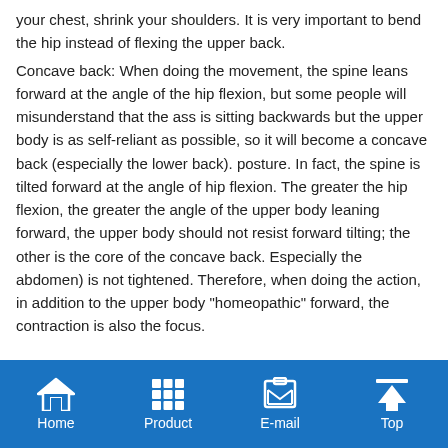your chest, shrink your shoulders. It is very important to bend the hip instead of flexing the upper back. Concave back: When doing the movement, the spine leans forward at the angle of the hip flexion, but some people will misunderstand that the ass is sitting backwards but the upper body is as self-reliant as possible, so it will become a concave back (especially the lower back). posture. In fact, the spine is tilted forward at the angle of hip flexion. The greater the hip flexion, the greater the angle of the upper body leaning forward, the upper body should not resist forward tilting; the other is the core of the concave back. Especially the abdomen) is not tightened. Therefore, when doing the action, in addition to the upper body "homeopathic" forward, the contraction is also the focus.
Home  Product  E-mail  Top